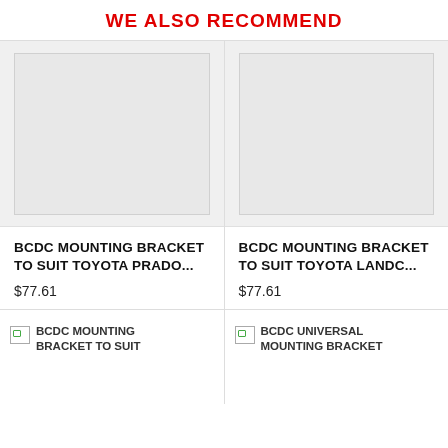WE ALSO RECOMMEND
[Figure (photo): Product image placeholder for BCDC Mounting Bracket to suit Toyota Prado (left card, top row)]
BCDC MOUNTING BRACKET TO SUIT TOYOTA PRADO...
$77.61
[Figure (photo): Product image placeholder for BCDC Mounting Bracket to suit Toyota LandC (right card, top row)]
BCDC MOUNTING BRACKET TO SUIT TOYOTA LANDC...
$77.61
[Figure (photo): Broken image icon for BCDC MOUNTING BRACKET TO SUIT (bottom left card)]
[Figure (photo): Broken image icon for BCDC UNIVERSAL MOUNTING BRACKET (bottom right card)]